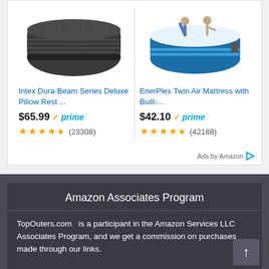[Figure (screenshot): Amazon ad unit showing two air mattress products side by side. Left: Intex Dura-Beam Series Deluxe Pillow Rest air mattress image (dark gray). Right: EnerPlex Twin Air Mattress with built-in pump (blue/white with people sitting on it).]
Intex Dura-Beam Series Deluxe Pillow Rest ...
$65.99 ✓prime ★★★★½ (23308)
EnerPlex Twin Air Mattress with Built-...
$42.10 ✓prime ★★★★½ (42188)
Ads by Amazon
Amazon Associates Program
TopOuters.com  is a participant in the Amazon Services LLC Associates Program, and we get a commission on purchases made through our links.